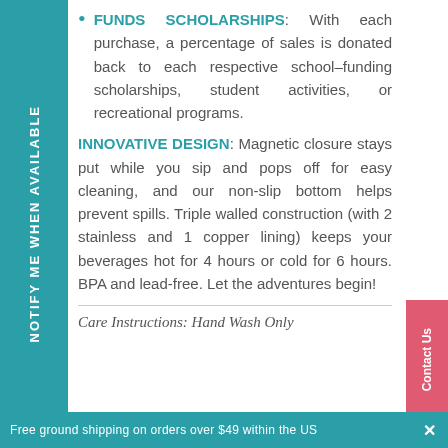FUNDS SCHOLARSHIPS: With each purchase, a percentage of sales is donated back to each respective school–funding scholarships, student activities, or recreational programs.
INNOVATIVE DESIGN: Magnetic closure stays put while you sip and pops off for easy cleaning, and our non-slip bottom helps prevent spills. Triple walled construction (with 2 stainless and 1 copper lining) keeps your beverages hot for 4 hours or cold for 6 hours. BPA and lead-free. Let the adventures begin!
Care Instructions: Hand Wash Only
Free ground shipping on orders over $49 within the US